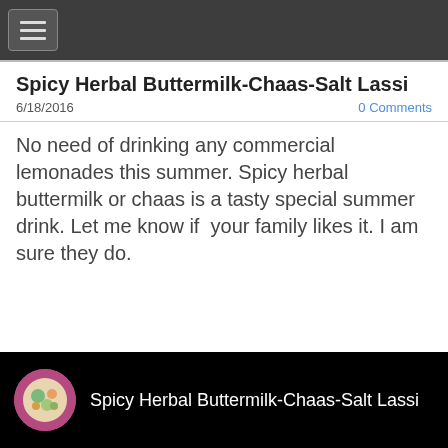☰ (hamburger menu button)
Spicy Herbal Buttermilk-Chaas-Salt Lassi
6/18/2016    0 Comments
No need of drinking any commercial lemonades this summer. Spicy herbal buttermilk or chaas is a tasty special summer drink. Let me know if  your family likes it. I am sure they do.
[Figure (screenshot): Video thumbnail with black background showing a circular icon with food image and text 'Spicy Herbal Buttermilk-Chaas-Salt Lassi']